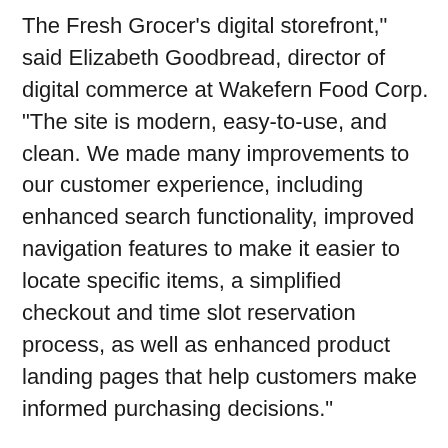The Fresh Grocer's digital storefront," said Elizabeth Goodbread, director of digital commerce at Wakefern Food Corp. "The site is modern, easy-to-use, and clean. We made many improvements to our customer experience, including enhanced search functionality, improved navigation features to make it easier to locate specific items, a simplified checkout and time slot reservation process, as well as enhanced product landing pages that help customers make informed purchasing decisions."
Wakefern and Mi9 Retail, ThryveAI's parent company, have a longstanding partnership. In 2020, Wakefern banners Dearborn Market, Price Rite Marketplace, Gourmet Garage, and Fairway Market went live with new websites and mobile applications using Thryve Commerce and Thryve Mobile. This allowed Wakefern to take advantage of features like enhanced search,